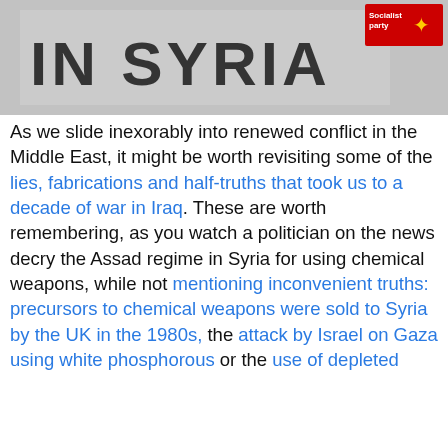[Figure (photo): Partial photo showing text 'IN SYRIA' on a banner/placard with a Socialist Party logo visible in the upper right corner. Grey/washed out background.]
As we slide inexorably into renewed conflict in the Middle East, it might be worth revisiting some of the lies, fabrications and half-truths that took us to a decade of war in Iraq. These are worth remembering, as you watch a politician on the news decry the Assad regime in Syria for using chemical weapons, while not mentioning inconvenient truths: precursors to chemical weapons were sold to Syria by the UK in the 1980s, the attack by Israel on Gaza using white phosphorous or the use of depleted terrorism, instead of mass action to remove dictators, the
Privacy & Cookies: This site uses cookies. By continuing to use this website, you agree to their use.
To find out more, including how to control cookies, see here: Cookie Policy
Close and accept